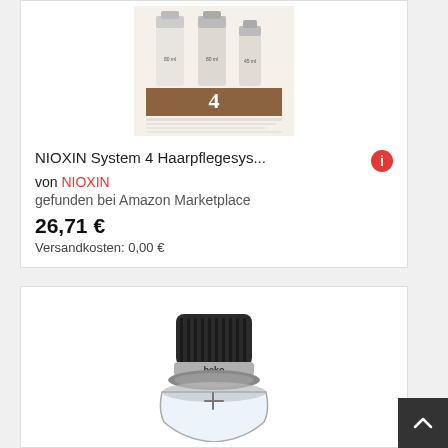[Figure (photo): NIOXIN System 4 hair care product set showing bottles]
NIOXIN System 4 Haarpflegesys...
von NIOXIN
gefunden bei Amazon Marketplace
26,71 €
Versandkosten: 0,00 €
[Figure (photo): Beko food chopper/blender, dark grey and silver, glass bowl visible at bottom]